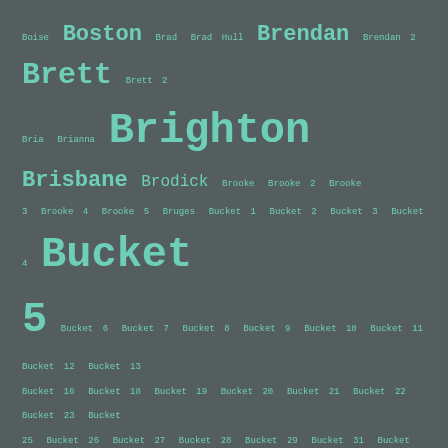Boise Boston Brad Brad Hull Brendan Brendan 2 Brett Brett 2 Bria Brianna Brighton Brisbane Brodick Brooke Brooke 2 Brooke 3 Brooke 4 Brooke 5 Bruges Bucket 1 Bucket 2 Bucket 3 Bucket 4 Bucket 5 Bucket 6 Bucket 7 Bucket 8 Bucket 9 Bucket 10 Bucket 11 Bucket 12 Bucket 13 Bucket 16 Bucket 18 Bucket 19 Bucket 20 Bucket 21 Bucket 22 Bucket 23 Bucket 25 Bucket 26 Bucket 27 Bucket 28 Bucket 29 Bucket 31 Bucket 35 Bucket 36 Bucket 37 Bucket 39 Bucket 40 Bucket 41 Bucket 42 Bucket 43 Bucket 44 Bucket 45 Bucket 50 Bucket 51 Bucket 54 Bucket 56 Bucket 57 Bucket 59 Bucket 62 Bucket 63 Bucket 64 Bucket 65 Bucket 66 Bucket 69 Bucket 70 Bucket 71 Bucket 72 Bucket 73 Bucket 74 Bucket 76 Bucket 77 Bucket 78 Bucket 79 Bucket 80 Bucket 81 Bucket 82 Bucket 83 Bucket 84 Bucket84 Bucket 86 Bucket 87 Bucket 88 Bucket 90 Bucket 93 Bucket 97 Bucket 98 Bucket 99 Bucket 100 Bucket 101 Bucket 103 Bucket 107 Bucket 109 Bucket 110 Bucket 111 Bucket 113 Bucket 114 Bucket 118 Bucket 120 Bucket 124 Bucket 127 Bucket 129 Bucket 132 Bucket 133 Bucket 135 Bucket 136 Bucket 145